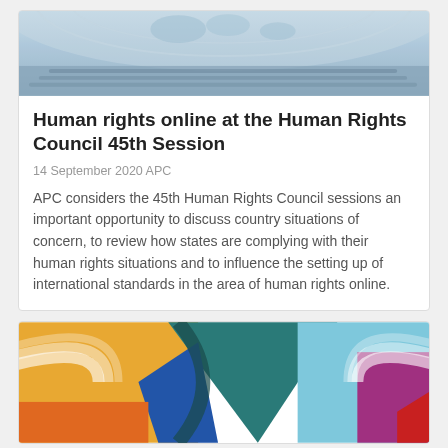[Figure (photo): Aerial/wide view of the UN Human Rights Council chamber filled with delegates]
Human rights online at the Human Rights Council 45th Session
14 September 2020 APC
APC considers the 45th Human Rights Council sessions an important opportunity to discuss country situations of concern, to review how states are complying with their human rights situations and to influence the setting up of international standards in the area of human rights online.
[Figure (illustration): Colorful abstract graphic with geometric shapes and WiFi/signal arc motifs in orange, teal, blue, light blue, purple, and red]